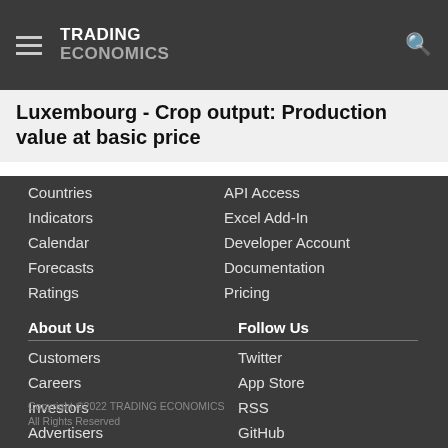TRADING ECONOMICS
Luxembourg - Crop output: Production value at basic price
Countries
Indicators
Calendar
Forecasts
Ratings
API Access
Excel Add-In
Developer Account
Documentation
Pricing
About Us
Customers
Careers
Investors
Advertisers
About us
Follow Us
Twitter
App Store
RSS
GitHub
Privacy
Copyright ©2022 TRADING ECONOMICS
All Rights Reserved